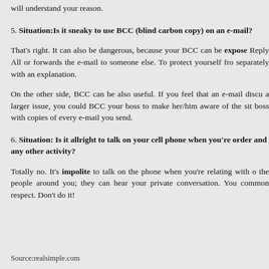will understand your reason.
5. Situation:Is it sneaky to use BCC (blind carbon copy) on an e-mail?
That’s right. It can also be dangerous, because your BCC can be exposed. Reply All or forwards the e-mail to someone else. To protect yourself from separately with an explanation.
On the other side, BCC can be also useful. If you feel that an e-mail discussion is a larger issue, you could BCC your boss to make her/him aware of the situation boss with copies of every e-mail you send.
6. Situation: Is it allright to talk on your cell phone when you’re ordering and any other activity?
Totally no. It’s impolite to talk on the phone when you’re relating with others the people around you; they can hear your private conversation. You common respect. Don’t do it!
Source:realsimple.com